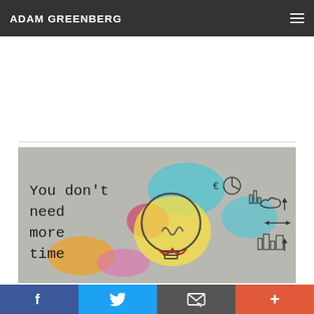ADAM GREENBERG
[Figure (illustration): Colorful motivational image with watercolor paint splashes and a drawn lightbulb, with text reading 'You don't need more time']
Social share buttons: Facebook, Twitter, Email, Plus